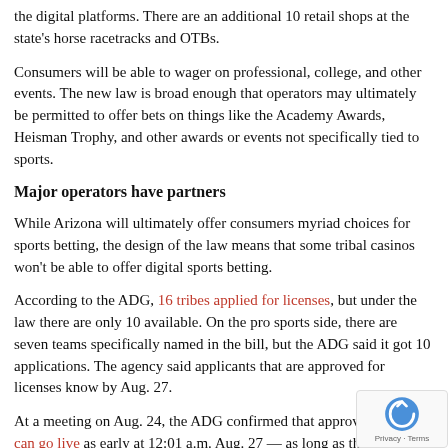the digital platforms. There are an additional 10 retail shops at the state's horse racetracks and OTBs.
Consumers will be able to wager on professional, college, and other events. The new law is broad enough that operators may ultimately be permitted to offer bets on things like the Academy Awards, Heisman Trophy, and other awards or events not specifically tied to sports.
Major operators have partners
While Arizona will ultimately offer consumers myriad choices for sports betting, the design of the law means that some tribal casinos won't be able to offer digital sports betting.
According to the ADG, 16 tribes applied for licenses, but under the law there are only 10 available. On the pro sports side, there are seven teams specifically named in the bill, but the ADG said it got 10 applications. The agency said applicants that are approved for licenses know by Aug. 27.
At a meeting on Aug. 24, the ADG confirmed that approved operators can go live as early at 12:01 a.m. Aug. 27 — as long as they have received approval for internal controls and be... PT Aug. 27. In addition, approved event wagering operators...